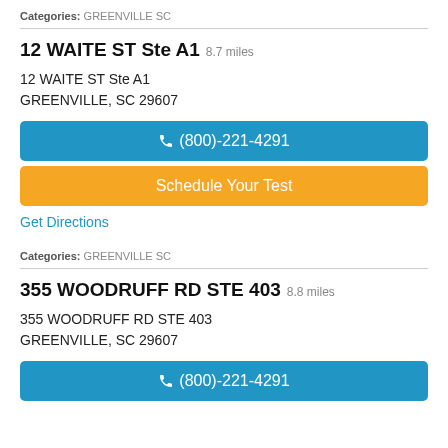Categories: GREENVILLE SC
12 WAITE ST Ste A1 8.7 miles
12 WAITE ST Ste A1
GREENVILLE, SC 29607
(800)-221-4291
Schedule Your Test
Get Directions
Categories: GREENVILLE SC
355 WOODRUFF RD STE 403 8.8 miles
355 WOODRUFF RD STE 403
GREENVILLE, SC 29607
(800)-221-4291